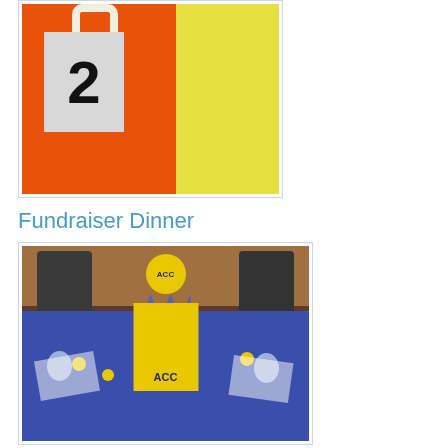[Figure (photo): Close-up photo of an orange gift bag with a white label showing the number 2, placed on a yellow tablecloth at an event.]
Fundraiser Dinner
[Figure (photo): Photo of a round banquet table set with a blue tablecloth, yellow gift bags labeled ACC, a balloon centerpiece, wine glasses, papers and brochures arranged on the table for a fundraiser dinner.]